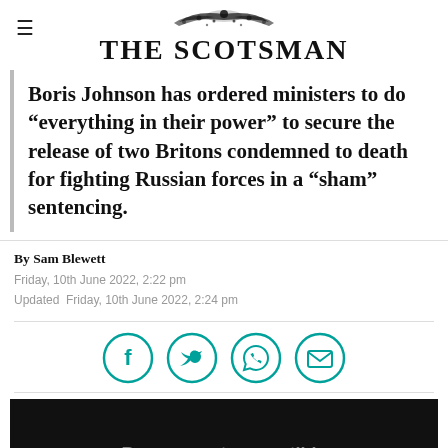THE SCOTSMAN
Boris Johnson has ordered ministers to do “everything in their power” to secure the release of two Britons condemned to death for fighting Russian forces in a “sham” sentencing.
By Sam Blewett
Friday, 10th June 2022, 2:22 pm
Updated  Friday, 10th June 2022, 2:24 pm
[Figure (infographic): Social share icons: Facebook, Twitter, WhatsApp, Email — teal circle outlines]
[Figure (other): Black video/media box with text: Browser not compatible]